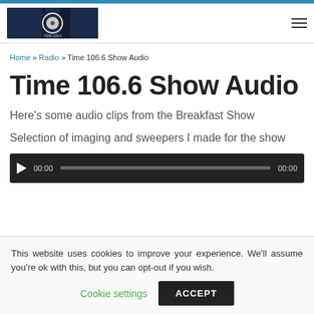Home » Radio » Time 106.6 Show Audio
Time 106.6 Show Audio
Here's some audio clips from the Breakfast Show
Selection of imaging and sweepers I made for the show
[Figure (other): Audio player with play button, time display 00:00, progress bar, and total time 00:00]
This website uses cookies to improve your experience. We'll assume you're ok with this, but you can opt-out if you wish.
Cookie settings   ACCEPT